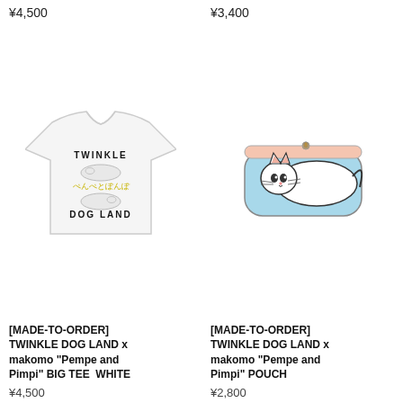¥4,500
¥3,400
[Figure (photo): White t-shirt with back graphic reading TWINKLE DOG LAND with Japanese text and dog illustration]
[Figure (photo): Light blue pouch/bag with illustrated lazy white cat graphic]
[MADE-TO-ORDER] TWINKLE DOG LAND x makomo "Pempe and Pimpi" BIG TEE  WHITE
[MADE-TO-ORDER] TWINKLE DOG LAND x makomo "Pempe and Pimpi" POUCH
¥4,500
¥2,800